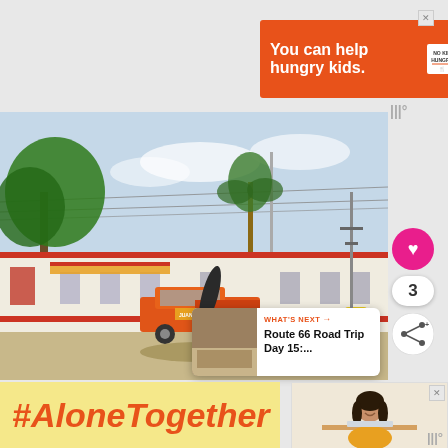[Figure (infographic): Orange advertisement banner: 'You can help hungry kids. NO KID HUNGRY. LEARN HOW']
[Figure (photo): Roadside motel scene with an orange pickup truck parked out front, palm tree in background, sparse desert-style surroundings, overhead wires visible]
[Figure (infographic): What's Next panel: 'Route 66 Road Trip Day 15:...' with thumbnail image]
[Figure (infographic): Bottom banner with '#AloneTogether' text in orange italic on yellow background, and a secondary ad showing a woman at a table]